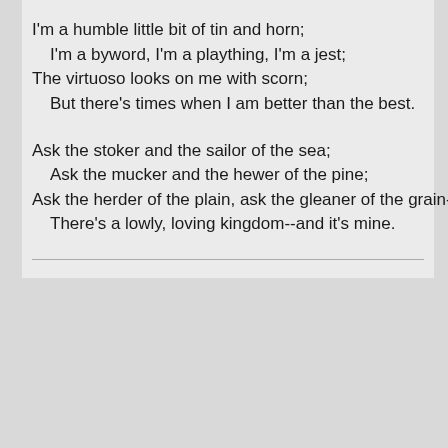I'm a humble little bit of tin and horn;
 I'm a byword, I'm a plaything, I'm a jest;
The virtuoso looks on me with scorn;
 But there's times when I am better than the best.

Ask the stoker and the sailor of the sea;
 Ask the mucker and the hewer of the pine;
Ask the herder of the plain, ask the gleaner of the grain--
 There's a lowly, loving kingdom--and it's mine.